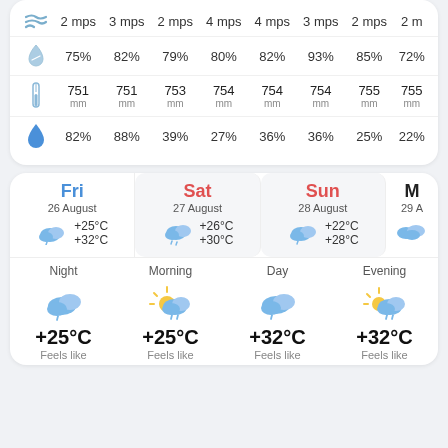| Icon | Col1 | Col2 | Col3 | Col4 | Col5 | Col6 | Col7 | Col8 |
| --- | --- | --- | --- | --- | --- | --- | --- | --- |
| wind | 2 mps | 3 mps | 2 mps | 4 mps | 4 mps | 3 mps | 2 mps | 2 mp |
| humidity | 75% | 82% | 79% | 80% | 82% | 93% | 85% | 72% |
| pressure | 751 mm | 751 mm | 753 mm | 754 mm | 754 mm | 754 mm | 755 mm | 755 mm |
| precip | 82% | 88% | 39% | 27% | 36% | 36% | 25% | 22% |
| Fri 26 August | Sat 27 August | Sun 28 August | M 29 A |
| --- | --- | --- | --- |
| +25°C / +32°C | +26°C / +30°C | +22°C / +28°C |  |
| Night | Morning | Day | Evening |
| --- | --- | --- | --- |
| +25°C Feels like | +25°C Feels like | +32°C Feels like | +32°C Feels like |